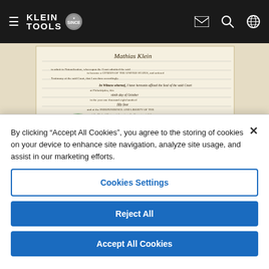Klein Tools navigation bar with hamburger menu, Klein Tools logo, envelope icon, search icon, globe icon
[Figure (photo): Scanned historical document – Mathias Klein's American citizenship certificate dated October 9, 1854, with cursive handwriting and a green official wax/paper seal on the left side.]
On October 9, 1854, Mathias Klein received his American citizenship, just three years before forging the first pair of Klein pliers together for a telegraph lineman in need
By clicking "Accept All Cookies", you agree to the storing of cookies on your device to enhance site navigation, analyze site usage, and assist in our marketing efforts.
Cookies Settings
Reject All
Accept All Cookies